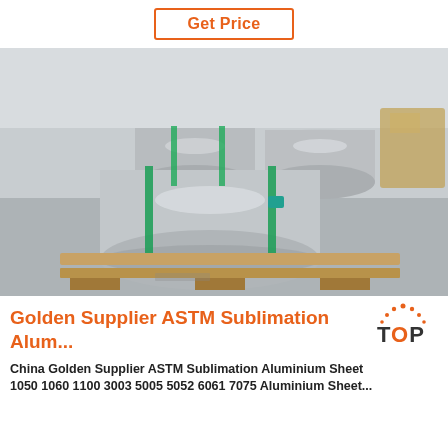Get Price
[Figure (photo): Large aluminum coil rolls stacked on a wooden pallet in a warehouse, secured with green strapping bands. Multiple silver metallic rolls visible, industrial setting with concrete floor.]
Golden Supplier ASTM Sublimation Alum...
China Golden Supplier ASTM Sublimation Aluminium Sheet 1050 1060 1100 3003 5005 5052 6061 7075 Aluminium Sheet...